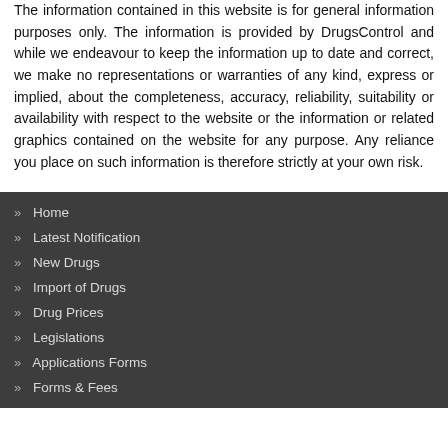The information contained in this website is for general information purposes only. The information is provided by DrugsControl and while we endeavour to keep the information up to date and correct, we make no representations or warranties of any kind, express or implied, about the completeness, accuracy, reliability, suitability or availability with respect to the website or the information or related graphics contained on the website for any purpose. Any reliance you place on such information is therefore strictly at your own risk.
>> Home
>> Latest Notification
>> New Drugs
>> Import of Drugs
>> Drug Prices
>> Legislations
>> Applications Forms
>> Forms & Fees